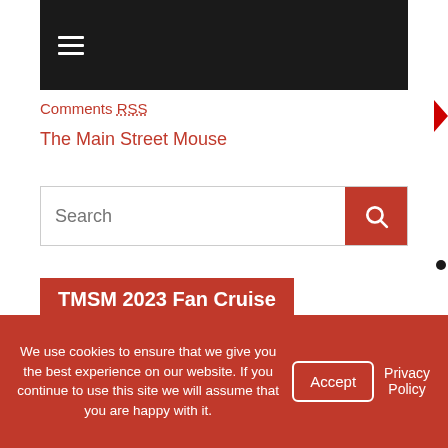Navigation bar with hamburger menu
Comments RSS
The Main Street Mouse
Search
TMSM 2023 Fan Cruise
Click the image below to submit your information for a free no obligation quote from MEI/Mouse Fan Travel.
[Figure (photo): Dark navy bordered image preview with gold frame border, white interior]
We use cookies to ensure that we give you the best experience on our website. If you continue to use this site we will assume that you are happy with it.
Accept
Privacy Policy